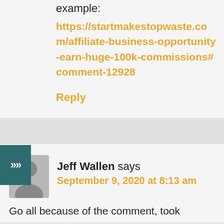example:
https://startmakestopwaste.com/affiliate-business-opportunity-earn-huge-100k-commissions#comment-12928
Reply
Jeff Wallen says
September 9, 2020 at 8:13 am
Go all because of the comment, took...